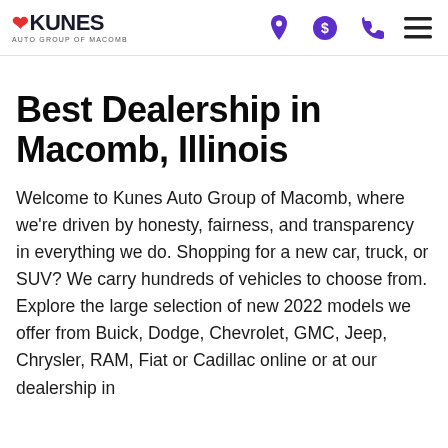KUNES AUTO GROUP OF MACOMB — navigation header with location, dollar, phone, and menu icons
Best Dealership in Macomb, Illinois
Welcome to Kunes Auto Group of Macomb, where we're driven by honesty, fairness, and transparency in everything we do. Shopping for a new car, truck, or SUV? We carry hundreds of vehicles to choose from. Explore the large selection of new 2022 models we offer from Buick, Dodge, Chevrolet, GMC, Jeep, Chrysler, RAM, Fiat or Cadillac online or at our dealership in